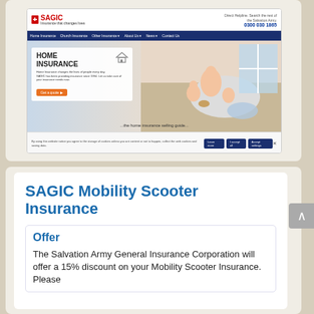[Figure (screenshot): Screenshot of SAGIC (Salvation Army General Insurance Corporation) website showing the home insurance page with navigation bar, hero image of a mother and children on a floor, and a cookie consent bar at the bottom. Phone number 0300 030 1865 visible.]
SAGIC Mobility Scooter Insurance
Offer
The Salvation Army General Insurance Corporation will offer a 15% discount on your Mobility Scooter Insurance.  Please